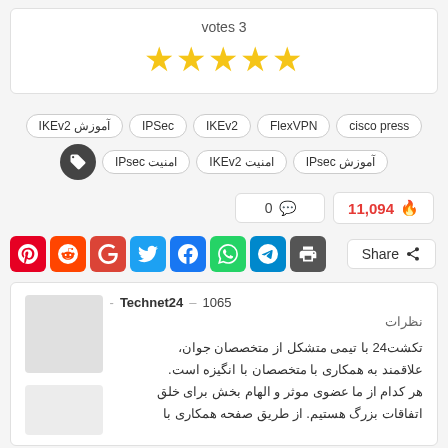votes 3
[Figure (other): 5 gold star rating icons]
آموزش IKEv2  IPSec  IKEv2  FlexVPN  cisco press  آموزش IPsec امنیت IKEv2  امنیت IPsec
0 💬  11,094 🔥
[Figure (other): Social share buttons: Pinterest, Reddit, Google, Twitter, Facebook, WhatsApp, Telegram, Print, Share]
2078 - Technet24 - پست ها - 1065
نظرات
تکشت24 با تیمی متشکل از متخصصان جوان، علاقمند به همکاری با متخصصان با انگیزه است. هر کدام از ما عضوی موثر و الهام بخش برای خلق اتفاقات بزرگ هستیم. از طریق صفحه همکاری با